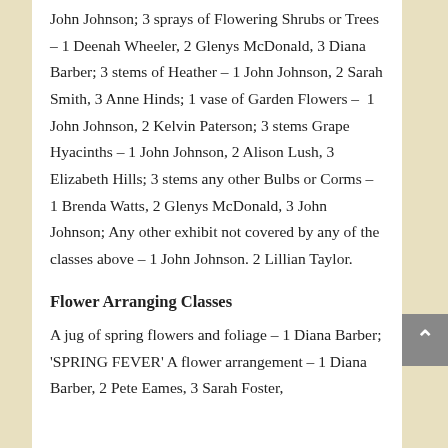John Johnson; 3 sprays of Flowering Shrubs or Trees – 1 Deenah Wheeler, 2 Glenys McDonald, 3 Diana Barber; 3 stems of Heather – 1 John Johnson, 2 Sarah Smith, 3 Anne Hinds; 1 vase of Garden Flowers – 1 John Johnson, 2 Kelvin Paterson; 3 stems Grape Hyacinths – 1 John Johnson, 2 Alison Lush, 3 Elizabeth Hills; 3 stems any other Bulbs or Corms – 1 Brenda Watts, 2 Glenys McDonald, 3 John Johnson; Any other exhibit not covered by any of the classes above – 1 John Johnson. 2 Lillian Taylor.
Flower Arranging Classes
A jug of spring flowers and foliage – 1 Diana Barber; 'SPRING FEVER' A flower arrangement – 1 Diana Barber, 2 Pete Eames, 3 Sarah Foster,